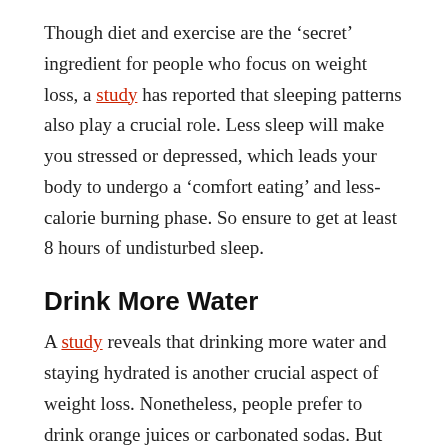Though diet and exercise are the 'secret' ingredient for people who focus on weight loss, a study has reported that sleeping patterns also play a crucial role. Less sleep will make you stressed or depressed, which leads your body to undergo a 'comfort eating' and less-calorie burning phase. So ensure to get at least 8 hours of undisturbed sleep.
Drink More Water
A study reveals that drinking more water and staying hydrated is another crucial aspect of weight loss. Nonetheless, people prefer to drink orange juices or carbonated sodas. But they are drinking calories to quench their thirst. So instead, make water your go-to